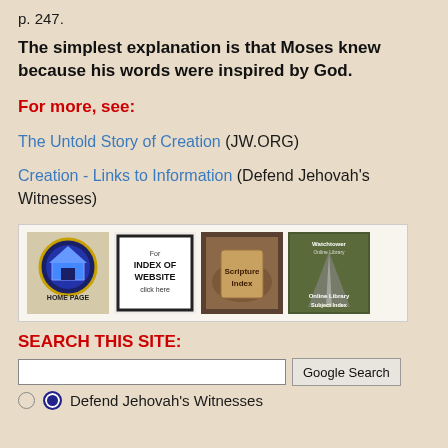p. 247.
The simplest explanation is that Moses knew because his words were inspired by God.
For more, see:
The Untold Story of Creation (JW.ORG)
Creation - Links to Information (Defend Jehovah's Witnesses)
[Figure (illustration): Four navigation button images: Home Page button (blue globe/home icon), Index of Website (click here), Scripture Index (stone tablets image), Watchtower Online Library Subject Index]
SEARCH THIS SITE:
Google Search | Defend Jehovah's Witnesses radio option